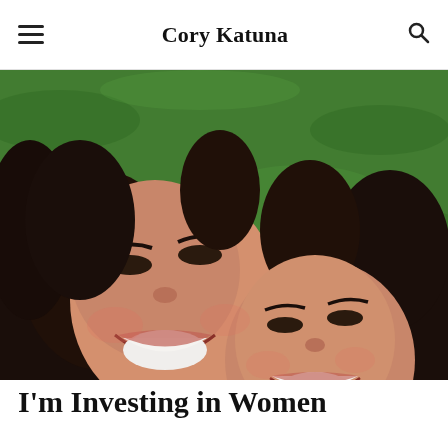Cory Katuna
[Figure (photo): Two young women with dark hair lying on green grass, smiling up at the camera. The woman on the left wears a mauve/pink top, the woman on the right wears a yellow top.]
I'm Investing in Women